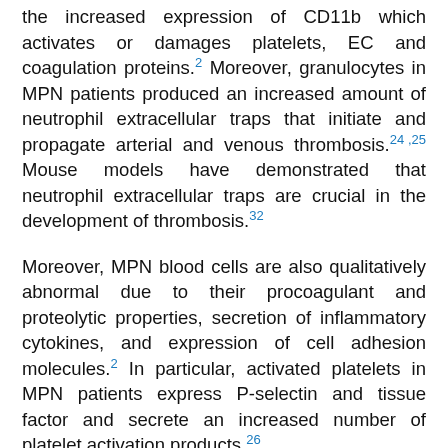the increased expression of CD11b which activates or damages platelets, EC and coagulation proteins.2 Moreover, granulocytes in MPN patients produced an increased amount of neutrophil extracellular traps that initiate and propagate arterial and venous thrombosis.24,25 Mouse models have demonstrated that neutrophil extracellular traps are crucial in the development of thrombosis.32
Moreover, MPN blood cells are also qualitatively abnormal due to their procoagulant and proteolytic properties, secretion of inflammatory cytokines, and expression of cell adhesion molecules.2 In particular, activated platelets in MPN patients express P-selectin and tissue factor and secrete an increased number of platelet activation products.26
Inflammation and thrombosis
In concert, inflammatory cytokines secreted by MPN